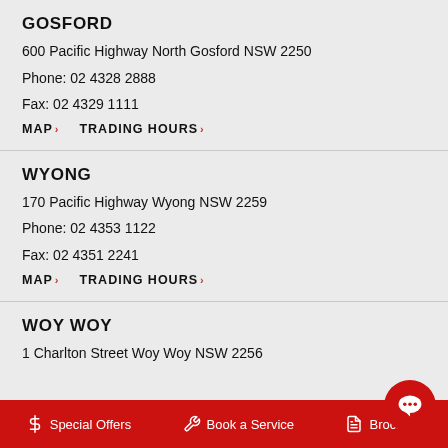GOSFORD
600 Pacific Highway North Gosford NSW 2250
Phone: 02 4328 2888
Fax: 02 4329 1111
MAP > TRADING HOURS >
WYONG
170 Pacific Highway Wyong NSW 2259
Phone: 02 4353 1122
Fax: 02 4351 2241
MAP > TRADING HOURS >
WOY WOY
1 Charlton Street Woy Woy NSW 2256
$ Special Offers   Book a Service   Brochure